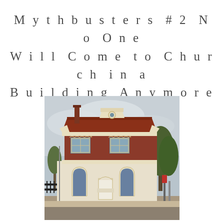Mythbusters #2 No One Will Come to Church in a Building Anymore
AUGUST 21, 2012  STEPHENMCALPINE
[Figure (photo): Photograph of a heritage church or civic building, two-storey, cream render with red brick upper level and terracotta tiled roof, arched windows on ground floor, white door, iron fence, overcast sky, tree on right.]